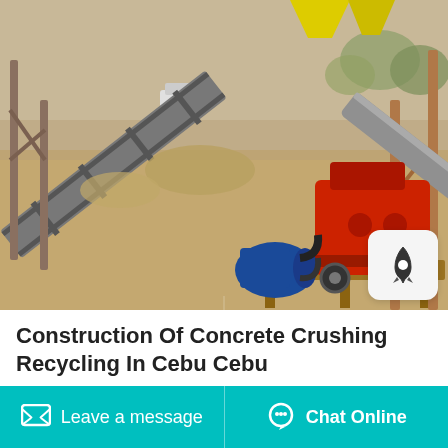[Figure (photo): Outdoor photo of a red hammer crusher/rock crushing machine mounted on a wooden platform with a blue electric motor, conveyor belt running diagonally, feed chute, metal framework, yellow hopper in background, dry landscape setting.]
Construction Of Concrete Crushing Recycling In Cebu Cebu
Cebu Philippines Southeast Asia low price new soft rock Cebu Philippines Southeast Asia low price soft rock manufacturer of
Leave a message
Chat Online